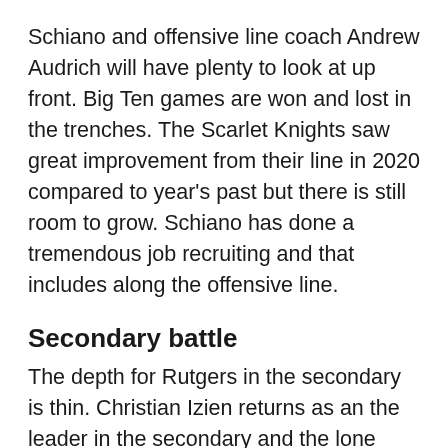Schiano and offensive line coach Andrew Audrich will have plenty to look at up front. Big Ten games are won and lost in the trenches. The Scarlet Knights saw great improvement from their line in 2020 compared to year's past but there is still room to grow. Schiano has done a tremendous job recruiting and that includes along the offensive line.
Secondary battle
The depth for Rutgers in the secondary is thin. Christian Izien returns as an the leader in the secondary and the lone sure thing. There will be a chance that we could see some members of the secondary change position.
It begins with Avery Young. Keep an eye on where he